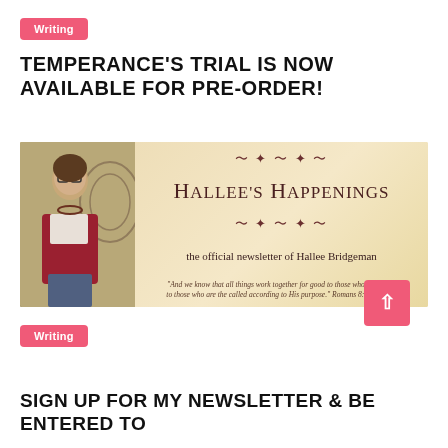Writing
TEMPERANCE'S TRIAL IS NOW AVAILABLE FOR PRE-ORDER!
[Figure (illustration): Hallee's Happenings newsletter banner featuring a woman standing on the left side and ornate text reading 'Hallee's Happenings — the official newsletter of Hallee Bridgeman' with a decorative scrollwork border and a Bible quote from Romans 8:28 (NKJV) on a parchment-colored background.]
Writing
SIGN UP FOR MY NEWSLETTER & BE ENTERED TO